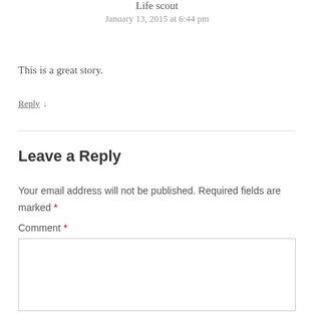Life scout
January 13, 2015 at 6:44 pm
This is a great story.
Reply ↓
Leave a Reply
Your email address will not be published. Required fields are marked *
Comment *